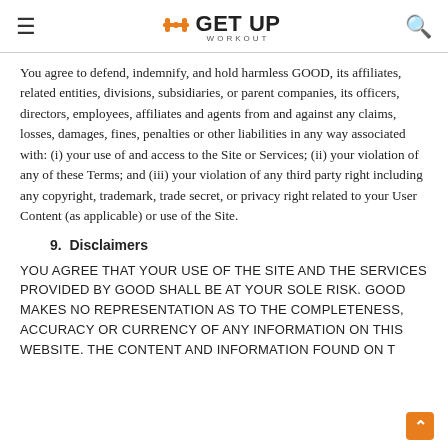GET UP WORKOUT
You agree to defend, indemnify, and hold harmless GOOD, its affiliates, related entities, divisions, subsidiaries, or parent companies, its officers, directors, employees, affiliates and agents from and against any claims, losses, damages, fines, penalties or other liabilities in any way associated with: (i) your use of and access to the Site or Services; (ii) your violation of any of these Terms; and (iii) your violation of any third party right including any copyright, trademark, trade secret, or privacy right related to your User Content (as applicable) or use of the Site.
9. Disclaimers
YOU AGREE THAT YOUR USE OF THE SITE AND THE SERVICES PROVIDED BY GOOD SHALL BE AT YOUR SOLE RISK. GOOD MAKES NO REPRESENTATION AS TO THE COMPLETENESS, ACCURACY OR CURRENCY OF ANY INFORMATION ON THIS WEBSITE. THE CONTENT AND INFORMATION FOUND ON T